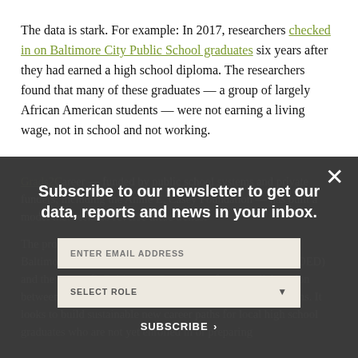The data is stark. For example: In 2017, researchers checked in on Baltimore City Public School graduates six years after they had earned a high school diploma. The researchers found that many of these graduates — a group of largely African American students — were not earning a living wage, not in school and not working.
Subscribe to our newsletter to get our data, reports and news in your inbox.
ENTER EMAIL ADDRESS
SELECT ROLE
SUBSCRIBE ›
Grads2Career — funded by public school systems and private funders, including the Annie E. Casey Foundation — has built a model that seeks to reverse these trends.
The program — led by Baltimore City Public Schools, the Baltimore Mayor's Office of Employment Development (MOED) and the nonprofit Baltimore's Promise — fosters collaboration between the city's workforce development and school systems. It looks to build sustainable new career paths for local high school graduates who are not yet enrolled in or preparing